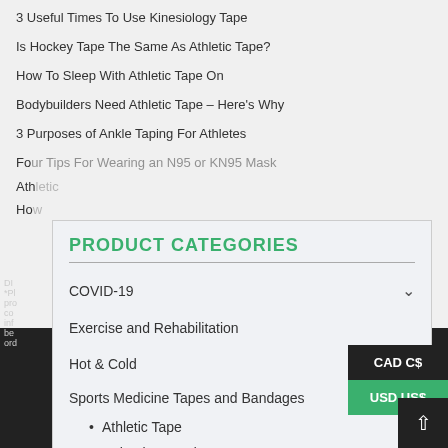3 Useful Times To Use Kinesiology Tape
Is Hockey Tape The Same As Athletic Tape?
How To Sleep With Athletic Tape On
Bodybuilders Need Athletic Tape – Here's Why
3 Purposes of Ankle Taping For Athletes
Four Tips For Wearing an N95 or KN95 Mask
PRODUCT CATEGORIES
COVID-19
Exercise and Rehabilitation
Hot & Cold
Sports Medicine Tapes and Bandages (8)
Athletic Tape (4)
Cohesive Bandages (1)
Kinesiology Tapes (2)
Wound Care (1)
FILTER BY COLOR
Beige (1)
CAD C$
USD US$